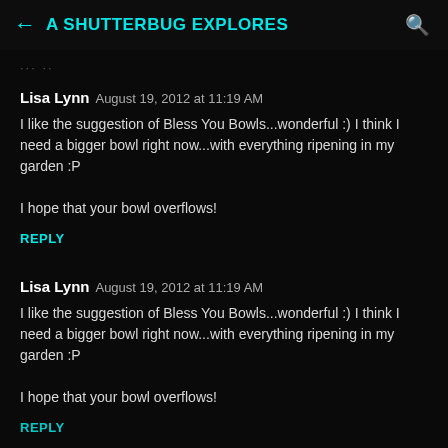A SHUTTERBUG EXPLORES
... ..
Lisa Lynn  August 19, 2012 at 11:19 AM

I like the suggestion of Bless You Bowls...wonderful :) I think I need a bigger bowl right now...with everything ripening in my garden :P

I hope that your bowl overflows!
REPLY
Lisa Lynn  August 19, 2012 at 11:19 AM

I like the suggestion of Bless You Bowls...wonderful :) I think I need a bigger bowl right now...with everything ripening in my garden :P

I hope that your bowl overflows!
REPLY